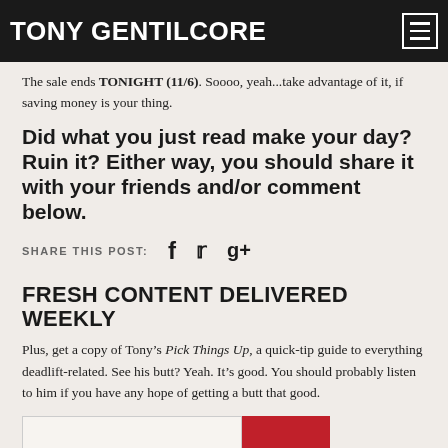TONY GENTILCORE
The sale ends TONIGHT (11/6). Soooo, yeah...take advantage of it, if saving money is your thing.
Did what you just read make your day? Ruin it? Either way, you should share it with your friends and/or comment below.
SHARE THIS POST:
FRESH CONTENT DELIVERED WEEKLY
Plus, get a copy of Tony’s Pick Things Up, a quick-tip guide to everything deadlift-related. See his butt? Yeah. It’s good. You should probably listen to him if you have any hope of getting a butt that good.